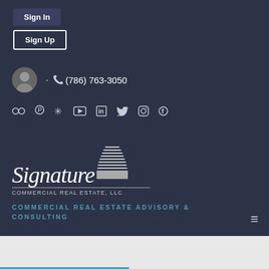Sign In
Sign Up
(786) 763-3050
[Figure (logo): Social media icons row: Flickr, Pinterest, Yelp, YouTube, LinkedIn, Twitter, Instagram, Facebook]
[Figure (logo): Signature Commercial Real Estate LLC logo with cursive text and building illustration]
COMMERCIAL REAL ESTATE ADVISORY & CONSULTING
For Sale
For Rent